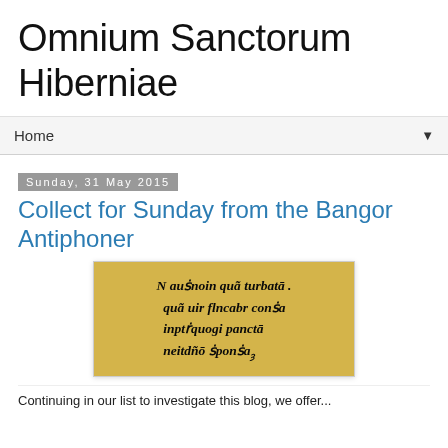Omnium Sanctorum Hiberniae
Home
Sunday, 31 May 2015
Collect for Sunday from the Bangor Antiphoner
[Figure (photo): Manuscript image on yellowed parchment showing medieval insular script text in dark ink, four lines of Latin text]
Continuing from the list to investigate this blog, we offer...